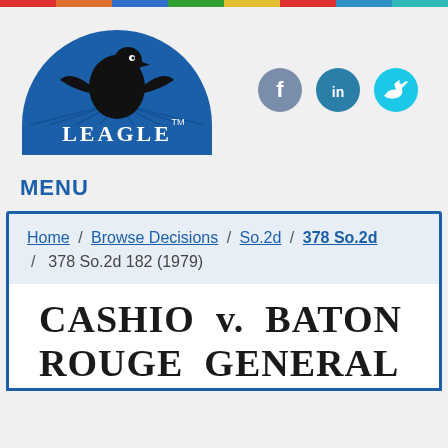[Figure (logo): Leagle.com logo — dark blue semicircle with eagle silhouette and LEAGLE text in white, with TM mark]
[Figure (infographic): Social media icons: Facebook (grey-blue circle with f), LinkedIn (blue circle with in), Twitter (cyan circle with bird)]
MENU
Home / Browse Decisions / So.2d / 378 So.2d / 378 So.2d 182 (1979)
CASHIO v. BATON ROUGE GENERAL